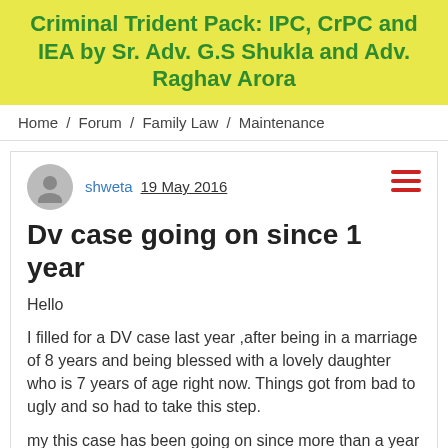Criminal Trident Pack: IPC, CrPC and IEA by Sr. Adv. G.S Shukla and Adv. Raghav Arora
Home / Forum / Family Law / Maintenance
shweta  19 May 2016
Dv case going on since 1 year
Hello
I filled for a DV case last year ,after being in a marriage of 8 years and being blessed with a lovely daughter who is 7 years of age right now. Things got from bad to ugly and so had to take this step.
my this case has been going on since more than a year and it just seems to be going no where. all i want is that my husband starts